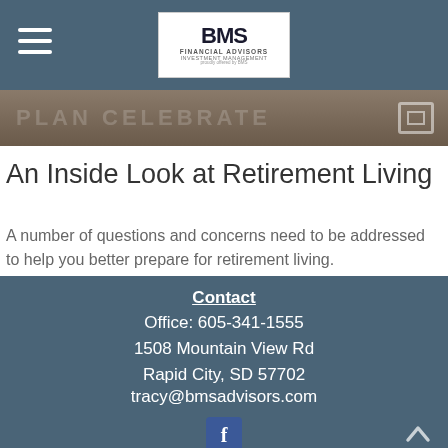BMS Financial Advisors
[Figure (screenshot): Partial image strip with faded text overlay and icon on the right]
An Inside Look at Retirement Living
A number of questions and concerns need to be addressed to help you better prepare for retirement living.
Contact
Office: 605-341-1555
1508 Mountain View Rd
Rapid City, SD 57702
tracy@bmsadvisors.com